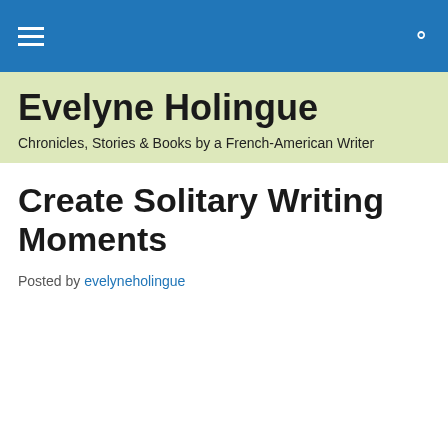Navigation bar with hamburger menu and search icon
Evelyne Holingue
Chronicles, Stories & Books by a French-American Writer
Create Solitary Writing Moments
Posted by evelyneholingue